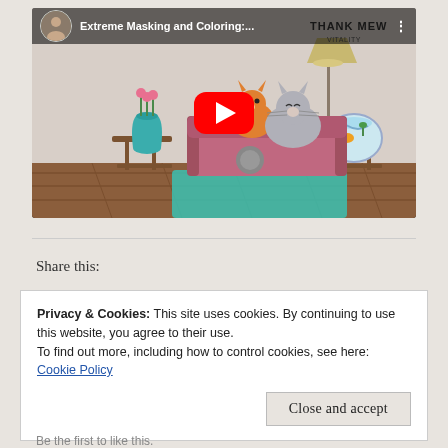[Figure (screenshot): YouTube video thumbnail showing 'Extreme Masking and Coloring...' with a cartoon illustration of cats sitting on a pink sofa in a living room scene with a fish bowl, lamp, and flower vase. Red YouTube play button in the center. Channel avatar visible in top-left corner.]
Share this:
Privacy & Cookies: This site uses cookies. By continuing to use this website, you agree to their use.
To find out more, including how to control cookies, see here: Cookie Policy
Close and accept
Be the first to like this.